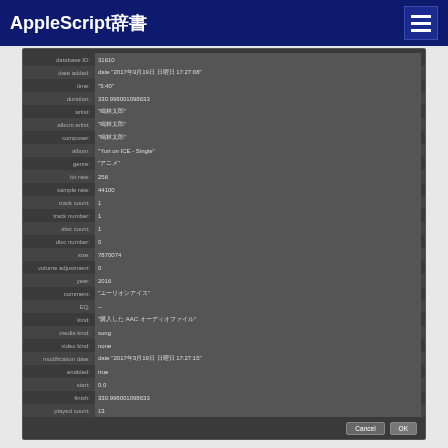AppleScript辞書
[Figure (screenshot): AppleScript dictionary dialog showing music track properties including database ID: 31610, date added, time: 5:40, duration: 330.998001098633, artist: 鳴林太郎, album artist: 鳴林太郎, composer: 鳴林太郎, album: Yuri on ICE - Single, genre: アニメ, bit rate: 256, sample rate: 44100, track count: 1, track number: 1, disc count: 1, disc number: 0, size: 7870074, volume adjustment: 0, year: 2016, comment: ユーリオンアイス, EQ: --, kind: 購入した AAC オーディオファイル, media kind: song, video kind: none, modification date: date 2017年3月19日 日曜日 17:27:15, enabled: true, start: 0.0, finish: 330.998001098633, played count: 13, with Cancel and OK buttons]